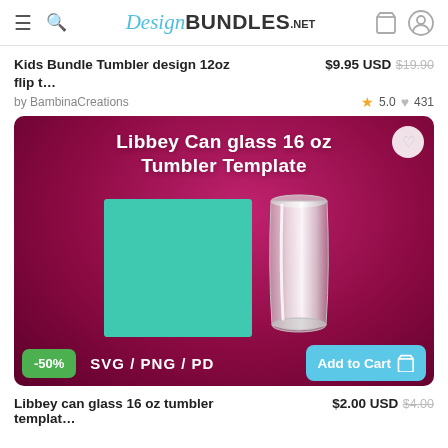DesignBUNDLES.NET
Kids Bundle Tumbler design 12oz flip t…  $9.95 USD  $19.90
by BambinaCreations  ★ 5.0  ♥ 431
[Figure (photo): Product listing image for Libbey Can glass 16 oz Tumbler Template on dark magenta/purple background, showing a teal green rectangle design template and a clear glass can tumbler, with a -50% badge, SVG/PNG/PD format labels, and an Add to Cart button]
Libbey can glass 16 oz tumbler templat…  $2.00 USD  $4.00